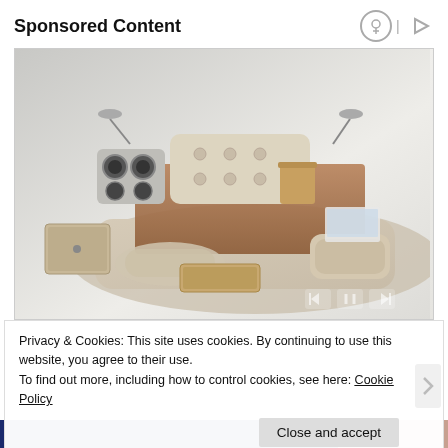Sponsored Content
[Figure (photo): A luxurious multi-functional bed with built-in speakers, storage drawers, massage chair, laptop stand, and reading lights, shown in cream/beige upholstery with brown linens.]
Privacy & Cookies: This site uses cookies. By continuing to use this website, you agree to their use.
To find out more, including how to control cookies, see here: Cookie Policy
Close and accept